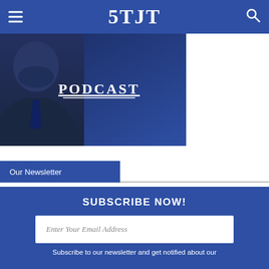5TJT
[Figure (screenshot): 5TJT Podcast banner image showing a man in a suit against a dark blue background with the word PODCAST underlined]
Our Newsletter
SUBSCRIBE NOW!
[Figure (screenshot): Email input field with placeholder text: Enter Your Email Address]
Subscribe to our newsletter and get notified about our